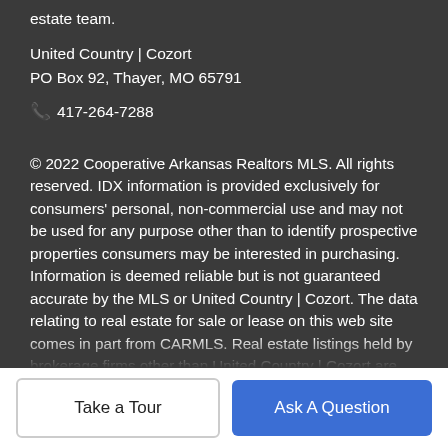estate team.
United Country | Cozort
PO Box 92, Thayer, MO 65791
📞 417-264-7288
© 2022 Cooperative Arkansas Realtors MLS. All rights reserved. IDX information is provided exclusively for consumers' personal, non-commercial use and may not be used for any purpose other than to identify prospective properties consumers may be interested in purchasing. Information is deemed reliable but is not guaranteed accurate by the MLS or United Country | Cozort. The data relating to real estate for sale or lease on this web site comes in part from CARMLS. Real estate listings held by brokerage firms other than United Country | Cozort are marked with the CARMLS logo or an abbreviated logo and detailed information about them
Take a Tour
Ask A Question